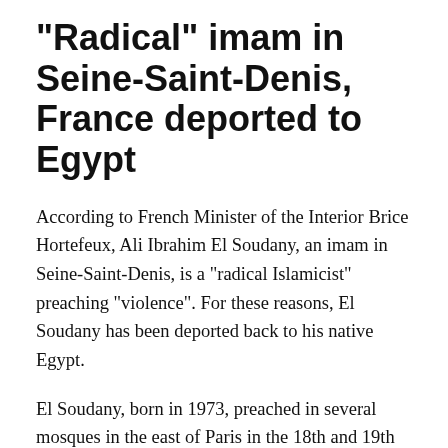“Radical” imam in Seine-Saint-Denis, France deported to Egypt
According to French Minister of the Interior Brice Hortefeux, Ali Ibrahim El Soudany, an imam in Seine-Saint-Denis, is a “radical Islamicist” preaching “violence”. For these reasons, El Soudany has been deported back to his native Egypt.
El Soudany, born in 1973, preached in several mosques in the east of Paris in the 18th and 19th districts but principally in Pantin and Montreuil (Seine-Saint-Denis).